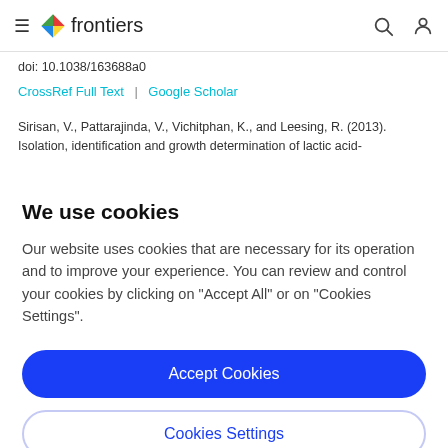frontiers
doi: 10.1038/163688a0
CrossRef Full Text | Google Scholar
Sirisan, V., Pattarajinda, V., Vichitphan, K., and Leesing, R. (2013). Isolation, identification and growth determination of lactic acid-
We use cookies
Our website uses cookies that are necessary for its operation and to improve your experience. You can review and control your cookies by clicking on "Accept All" or on "Cookies Settings".
Accept Cookies
Cookies Settings